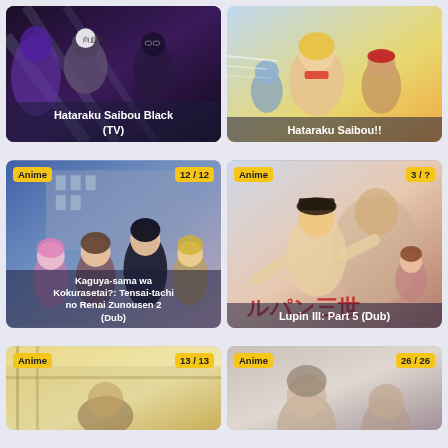[Figure (illustration): Anime card for Hataraku Saibou Black (TV) - dark themed with anime characters]
[Figure (illustration): Anime card for Hataraku Saibou!! - bright sporty anime characters]
[Figure (illustration): Anime card: Kaguya-sama wa Kokurasetai?: Tensai-tachi no Renai Zunousen 2 (Dub) - 12/12 episodes, group of anime characters]
[Figure (illustration): Anime card: Lupin III: Part 5 (Dub) - 3/? episodes, action anime characters with Japanese text]
[Figure (illustration): Anime card bottom left - 13/13 episodes]
[Figure (illustration): Anime card bottom right - 26/26 episodes]